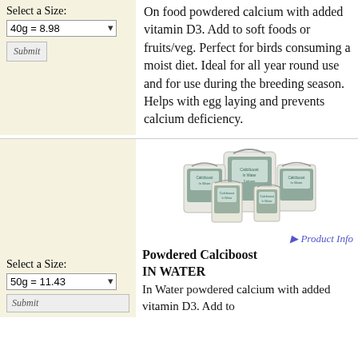Select a Size:
40g = 8.98
[Figure (screenshot): Submit button placeholder image]
On food powdered calcium with added vitamin D3. Add to soft foods or fruits/veg. Perfect for birds consuming a moist diet. Ideal for all year round use and for use during the breeding season. Helps with egg laying and prevents calcium deficiency.
[Figure (photo): Photo of multiple white/blue containers of Powdered Calciboost IN WATER product in various sizes]
Product Info
Powdered Calciboost IN WATER
Select a Size:
50g = 11.43
In Water powdered calcium with added vitamin D3. Add to